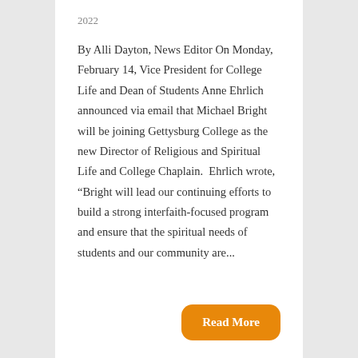2022
By Alli Dayton, News Editor On Monday, February 14, Vice President for College Life and Dean of Students Anne Ehrlich announced via email that Michael Bright will be joining Gettysburg College as the new Director of Religious and Spiritual Life and College Chaplain.  Ehrlich wrote, “Bright will lead our continuing efforts to build a strong interfaith-focused program and ensure that the spiritual needs of students and our community are...
Read More